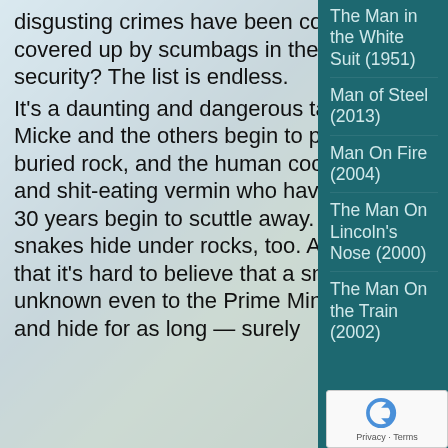[Figure (photo): Background photo of mountainous landscape with blue-green water]
disgusting crimes have been committed and covered up by scumbags in the name of national security? The list is endless.
It's a daunting and dangerous task, but slowly Micke and the others begin to pry up a deeply buried rock, and the human cockroaches and slugs and shit-eating vermin who have lived under it for 30 years begin to scuttle away. But scorpions and snakes hide under rocks, too. Add to that the fact that it's hard to believe that a small agency, unknown even to the Prime Minister, could operate and hide for as long — surely
The Man in the White Suit (1951)
Man of Steel (2013)
Man On Fire (2004)
The Man On Lincoln's Nose (2000)
The Man On the Train (2002)